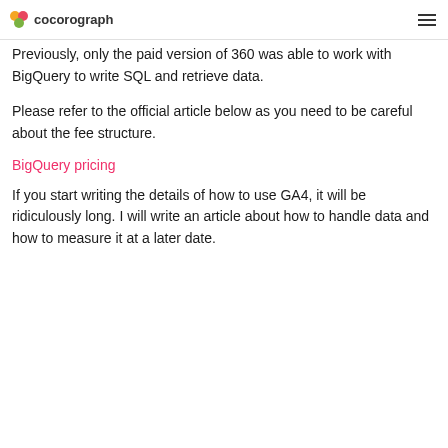cocorograph
Previously, only the paid version of 360 was able to work with BigQuery to write SQL and retrieve data.
Please refer to the official article below as you need to be careful about the fee structure.
BigQuery pricing
If you start writing the details of how to use GA4, it will be ridiculously long. I will write an article about how to handle data and how to measure it at a later date.